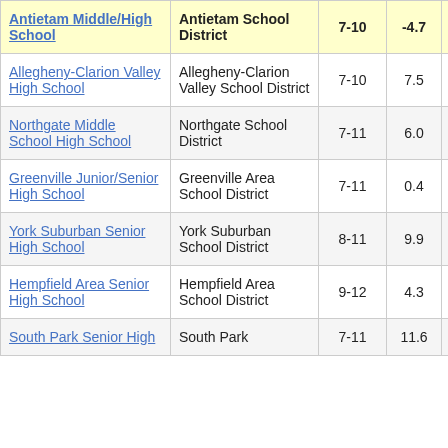| School | District | Grades | Value |  |
| --- | --- | --- | --- | --- |
| Antietam Middle/High School | Antietam School District | 7-10 | -4.7 | 3 |
| Allegheny-Clarion Valley High School | Allegheny-Clarion Valley School District | 7-10 | 7.5 | 4 |
| Northgate Middle School High School | Northgate School District | 7-11 | 6.0 | 3 |
| Greenville Junior/Senior High School | Greenville Area School District | 7-11 | 0.4 | 3 |
| York Suburban Senior High School | York Suburban School District | 8-11 | 9.9 | 3 |
| Hempfield Area Senior High School | Hempfield Area School District | 9-12 | 4.3 |  |
| South Park Senior High | South Park | 7-11 | 11.6 |  |